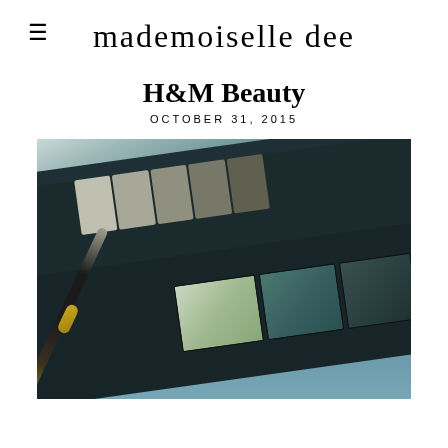mademoiselle dee
H&M Beauty
OCTOBER 31, 2015
[Figure (photo): Close-up photo of an H&M Beauty makeup eyeshadow palette with multiple shadow pans in grey and teal tones, a mirror, and a makeup brush with gold tip, all set against a teal surface background.]